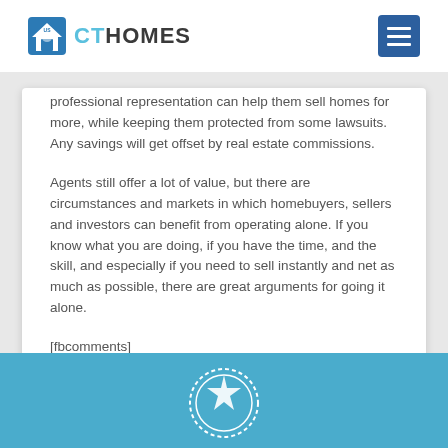CT HOMES
professional representation can help them sell homes for more, while keeping them protected from some lawsuits. Any savings will get offset by real estate commissions.
Agents still offer a lot of value, but there are circumstances and markets in which homebuyers, sellers and investors can benefit from operating alone. If you know what you are doing, if you have the time, and the skill, and especially if you need to sell instantly and net as much as possible, there are great arguments for going it alone.
[fbcomments]
[Figure (logo): CT Homes badge/seal logo in blue and white at the bottom of the page]